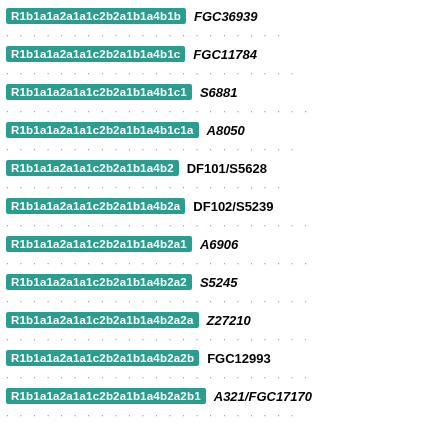R1b1a1a2a1a1c2b2a1b1a4b1b  FGC36939
R1b1a1a2a1a1c2b2a1b1a4b1c  FGC11784
R1b1a1a2a1a1c2b2a1b1a4b1c1  S6881
R1b1a1a2a1a1c2b2a1b1a4b1c1a  A8050
R1b1a1a2a1a1c2b2a1b1a4b2  DF101/S5628
R1b1a1a2a1a1c2b2a1b1a4b2a  DF102/S5239
R1b1a1a2a1a1c2b2a1b1a4b2a1  A6906
R1b1a1a2a1a1c2b2a1b1a4b2a2  S5245
R1b1a1a2a1a1c2b2a1b1a4b2a2a  Z27210
R1b1a1a2a1a1c2b2a1b1a4b2a2b  FGC12993
R1b1a1a2a1a1c2b2a1b1a4b2a2b1  A321/FGC17170